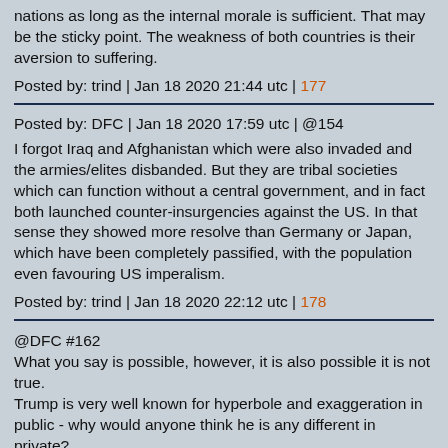nations as long as the internal morale is sufficient. That may be the sticky point. The weakness of both countries is their aversion to suffering.
Posted by: trind | Jan 18 2020 21:44 utc | 177
Posted by: DFC | Jan 18 2020 17:59 utc | @154
I forgot Iraq and Afghanistan which were also invaded and the armies/elites disbanded. But they are tribal societies which can function without a central government, and in fact both launched counter-insurgencies against the US. In that sense they showed more resolve than Germany or Japan, which have been completely passified, with the population even favouring US imperalism.
Posted by: trind | Jan 18 2020 22:12 utc | 178
@DFC #162
What you say is possible, however, it is also possible it is not true.
Trump is very well known for hyperbole and exaggeration in public - why would anyone think he is any different in private?
I would suggest you watch some old episodes of "The Apprentice" to get an idea of the person behind the name.
The other reason for watching some episodes of that old